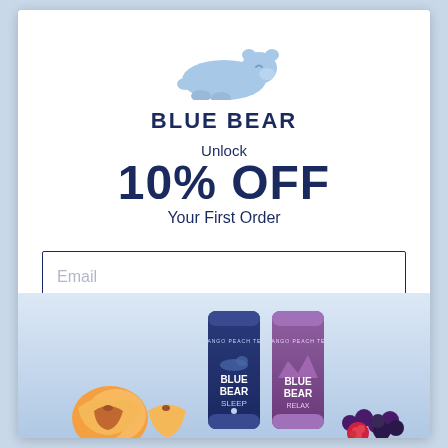[Figure (logo): Blue Bear sleeping bear logo in light blue, above the brand name BLUE BEAR]
BLUE BEAR
Unlock
10% OFF
Your First Order
Email
CONTINUE
No, thanks
[Figure (photo): Two Blue Bear drink cans (SLEEP and RELAX variants) with peach slices and berries in a light blue gradient background]